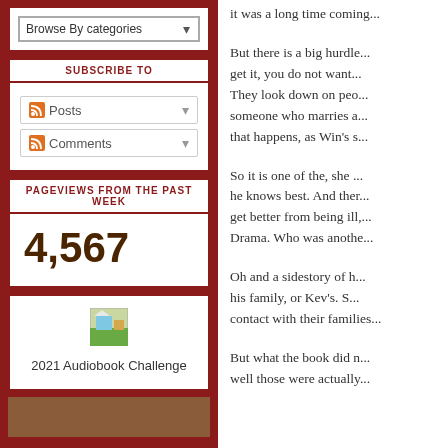Browse By categories (dropdown)
SUBSCRIBE TO
Posts
Comments
PAGEVIEWS FROM THE PAST WEEK
4,567
[Figure (illustration): Small thumbnail image for 2021 Audiobook Challenge]
2021 Audiobook Challenge
it was a long time coming...
But there is a big hurdle... get it, you do not want... They look down on peo... someone who marries a... that happens, as Win's s...
So it is one of the, she ... he knows best. And ther... get better from being ill,... Drama. Who was anothe...
Oh and a sidestory of h... his family, or Kev's. S... contact with their families...
But what the book did n... well those were actually...